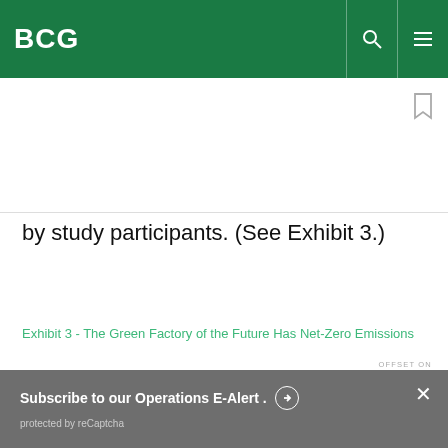BCG
by study participants. (See Exhibit 3.)
Exhibit 3 - The Green Factory of the Future Has Net-Zero Emissions
OFFSET ON
Subscribe to our Operations E-Alert.
protected by reCaptcha
By using this site, you agree with our use of cookies.
I consent to cookies
Want to know more?
Read our Cookie Policy